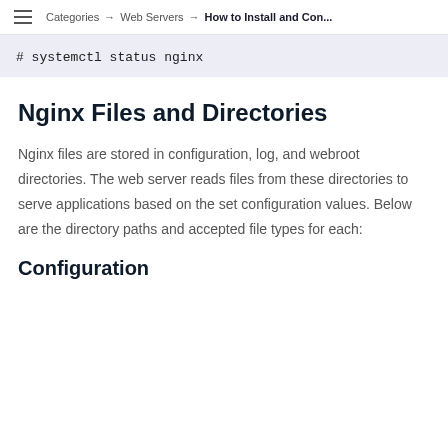Categories → Web Servers → How to Install and Con...
# systemctl status nginx
Nginx Files and Directories
Nginx files are stored in configuration, log, and webroot directories. The web server reads files from these directories to serve applications based on the set configuration values. Below are the directory paths and accepted file types for each:
Configuration